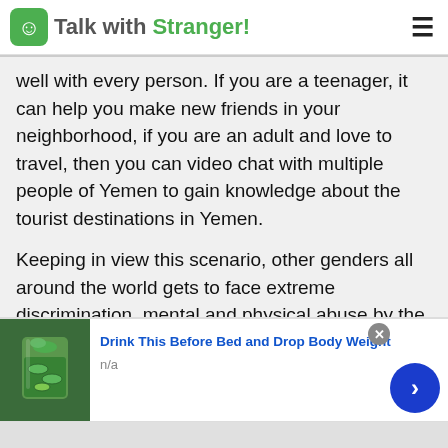TalkwithStranger!
well with every person. If you are a teenager, it can help you make new friends in your neighborhood, if you are an adult and love to travel, then you can video chat with multiple people of Yemen to gain knowledge about the tourist destinations in Yemen.
Keeping in view this scenario, other genders all around the world gets to face extreme discrimination, mental and physical abuse by the locals. People regard gay or lesbian couple as a disgrace to the society. This is one of the reasons why these people are socially isolated. Nobody likes
[Figure (screenshot): Advertisement banner: image of green drink with cucumbers, text 'Drink This Before Bed and Drop Body Weight', subtext 'n/a', with close button and arrow navigation button]